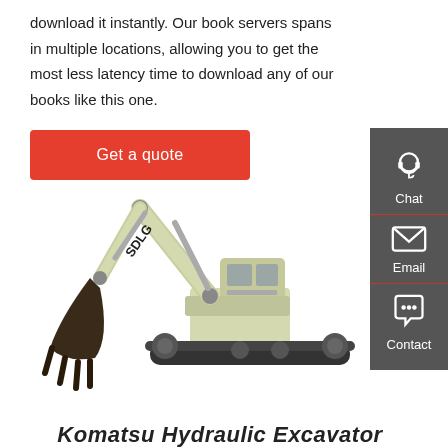download it instantly. Our book servers spans in multiple locations, allowing you to get the most less latency time to download any of our books like this one.
Get a quote
[Figure (photo): SDLG branded hydraulic excavator with extended boom arm and bucket, shown on white background]
Komatsu Hydraulic Excavator